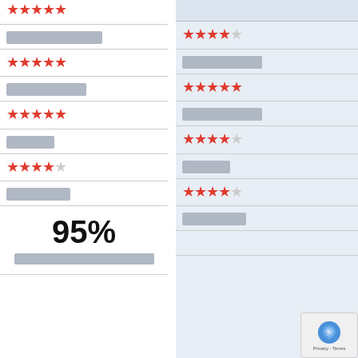[Figure (other): Rating widget - left column showing star ratings and redacted text rows, with a 95% satisfaction score at bottom]
[Figure (other): Rating widget - right column showing star ratings and redacted text rows on blue background]
[Figure (other): reCAPTCHA badge in bottom right corner]